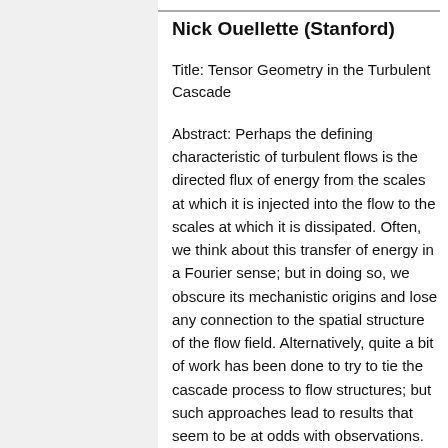Nick Ouellette (Stanford)
Title: Tensor Geometry in the Turbulent Cascade
Abstract: Perhaps the defining characteristic of turbulent flows is the directed flux of energy from the scales at which it is injected into the flow to the scales at which it is dissipated. Often, we think about this transfer of energy in a Fourier sense; but in doing so, we obscure its mechanistic origins and lose any connection to the spatial structure of the flow field. Alternatively, quite a bit of work has been done to try to tie the cascade process to flow structures; but such approaches lead to results that seem to be at odds with observations. Here, I will discuss what we can learn